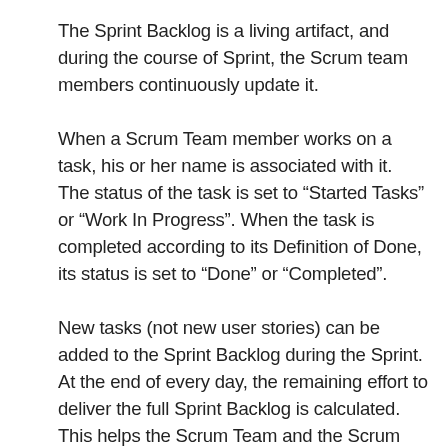The Sprint Backlog is a living artifact, and during the course of Sprint, the Scrum team members continuously update it.
When a Scrum Team member works on a task, his or her name is associated with it. The status of the task is set to “Started Tasks” or “Work In Progress”. When the task is completed according to its Definition of Done, its status is set to “Done” or “Completed”.
New tasks (not new user stories) can be added to the Sprint Backlog during the Sprint. At the end of every day, the remaining effort to deliver the full Sprint Backlog is calculated. This helps the Scrum Team and the Scrum Product Owner to